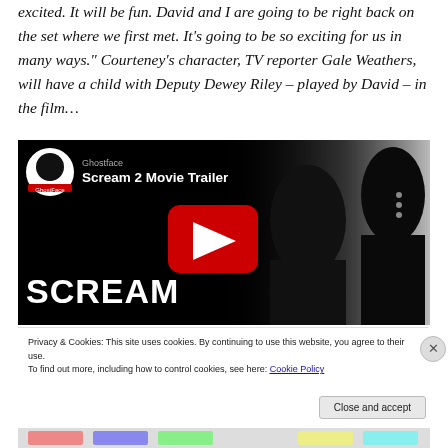excited. It will be fun. David and I are going to be right back on the set where we first met. It's going to be so exciting for us in many ways." Courteney's character, TV reporter Gale Weathers, will have a child with Deputy Dewey Riley – played by David – in the film…
[Figure (screenshot): YouTube video embed showing Scream 2 Movie Trailer with YouTube logo, GhostFace channel icon, video title, red play button, SCREAM text, and ghost mask silhouettes on dark background]
Privacy & Cookies: This site uses cookies. By continuing to use this website, you agree to their use.
To find out more, including how to control cookies, see here: Cookie Policy